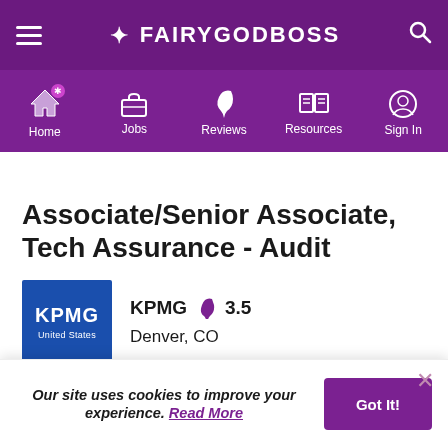FAIRYGODBOSS
[Figure (screenshot): Navigation bar with icons for Home, Jobs, Reviews, Resources, Sign In on purple background]
Associate/Senior Associate, Tech Assurance - Audit
KPMG 3.5
Denver, CO
Our site uses cookies to improve your experience. Read More
Got It!